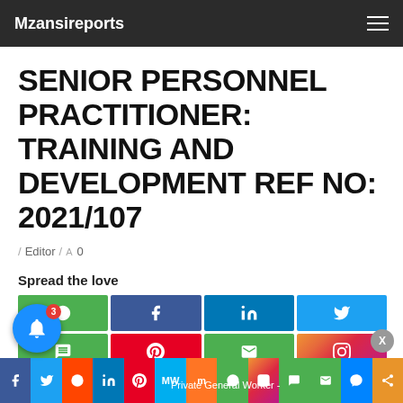Mzansireports
SENIOR PERSONNEL PRACTITIONER: TRAINING AND DEVELOPMENT REF NO: 2021/107
/ Editor / A 0
Spread the love
[Figure (other): Social media share buttons grid: WhatsApp, Facebook, LinkedIn, Twitter, SMS, Pinterest, Email, Instagram, Gmail, Messenger, Share]
Private General Worker -